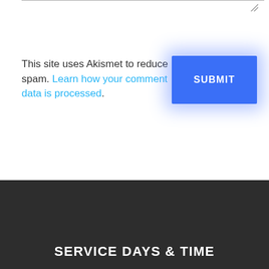This site uses Akismet to reduce spam. Learn how your comment data is processed.
SERVICE DAYS & TIME